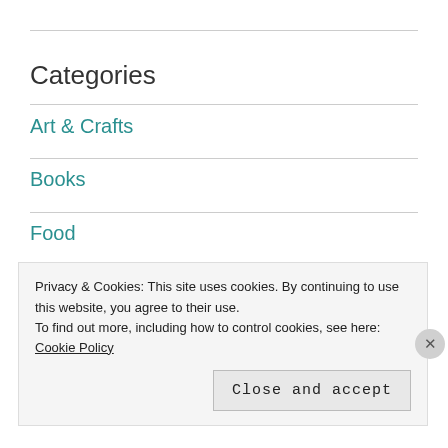Categories
Art & Crafts
Books
Food
Movies
Omnifarious
Privacy & Cookies: This site uses cookies. By continuing to use this website, you agree to their use.
To find out more, including how to control cookies, see here: Cookie Policy
Close and accept